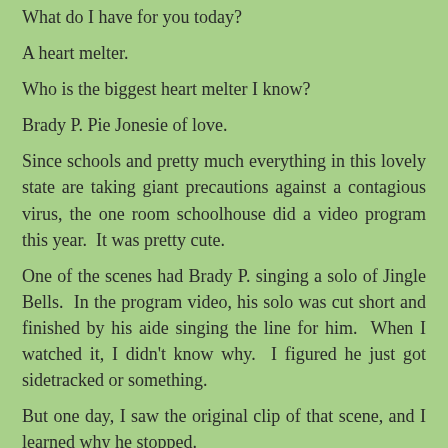What do I have for you today?
A heart melter.
Who is the biggest heart melter I know?
Brady P. Pie Jonesie of love.
Since schools and pretty much everything in this lovely state are taking giant precautions against a contagious virus, the one room schoolhouse did a video program this year.  It was pretty cute.
One of the scenes had Brady P. singing a solo of Jingle Bells.  In the program video, his solo was cut short and finished by his aide singing the line for him.  When I watched it, I didn't know why.  I figured he just got sidetracked or something.
But one day, I saw the original clip of that scene, and I learned why he stopped.